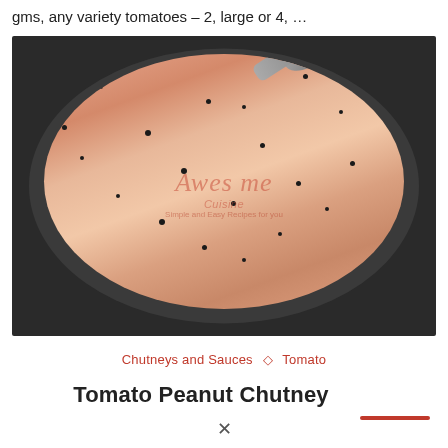gms, any variety tomatoes – 2, large or 4, …
[Figure (photo): A metal bowl containing tomato peanut chutney with black mustard seeds, with a spoon resting in it. The bowl is on a dark stone surface. An 'Awesome Cuisine' watermark is visible on the image.]
Chutneys and Sauces ◇ Tomato
Tomato Peanut Chutney